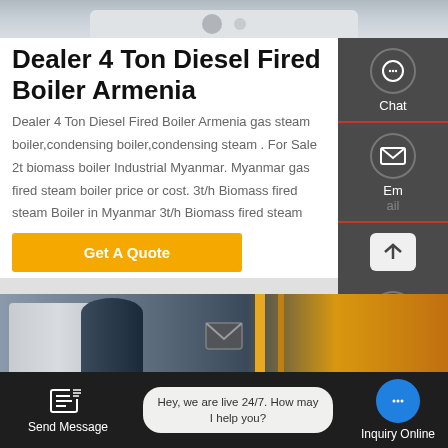[Figure (photo): Partial photo of industrial boiler equipment at top of page]
Dealer 4 Ton Diesel Fired Boiler Armenia
Dealer 4 Ton Diesel Fired Boiler Armenia gas steam boiler,condensing boiler,condensing steam . For Sale 2t biomass boiler Industrial Myanmar. Myanmar gas fired steam boiler price or cost. 3t/h Biomass fired steam Boiler in Myanmar 3t/h Biomass fired steam
Get A Quote
[Figure (photo): Industrial boiler facility with tanks, pipes, and yellow gas pipes]
Hey, we are live 24/7. How may I help you?
Send Message
Inquiry Online